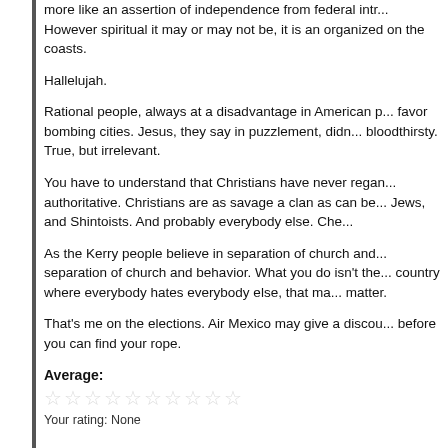more like an assertion of independence from federal intr... However spiritual it may or may not be, it is an organized on the coasts.
Hallelujah.
Rational people, always at a disadvantage in American p... favor bombing cities. Jesus, they say in puzzlement, didn... bloodthirsty. True, but irrelevant.
You have to understand that Christians have never regan... authoritative. Christians are as savage a clan as can be... Jews, and Shintoists. And probably everybody else. Che...
As the Kerry people believe in separation of church and... separation of church and behavior. What you do isn't the... country where everybody hates everybody else, that ma... matter.
That's me on the elections. Air Mexico may give a discou... before you can find your rope.
Average:
☆☆☆☆☆☆☆☆☆☆
Your rating: None